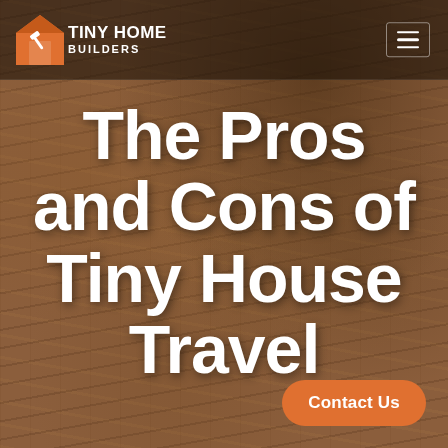[Figure (logo): Tiny Home Builders logo: orange house icon with hammer, white bold text reading TINY HOME BUILDERS]
The Pros and Cons of Tiny House Travel
Contact Us